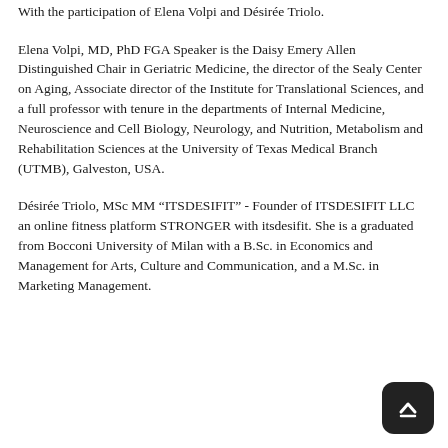With the participation of Elena Volpi and Désirée Triolo.
Elena Volpi, MD, PhD FGA Speaker is the Daisy Emery Allen Distinguished Chair in Geriatric Medicine, the director of the Sealy Center on Aging, Associate director of the Institute for Translational Sciences, and a full professor with tenure in the departments of Internal Medicine, Neuroscience and Cell Biology, Neurology, and Nutrition, Metabolism and Rehabilitation Sciences at the University of Texas Medical Branch (UTMB), Galveston, USA.
Désirée Triolo, MSc MM “ITSDESIFIT” - Founder of ITSDESIFIT LLC an online fitness platform STRONGER with itsdesifit. She is a graduated from Bocconi University of Milan with a B.Sc. in Economics and Management for Arts, Culture and Communication, and a M.Sc. in Marketing Management.